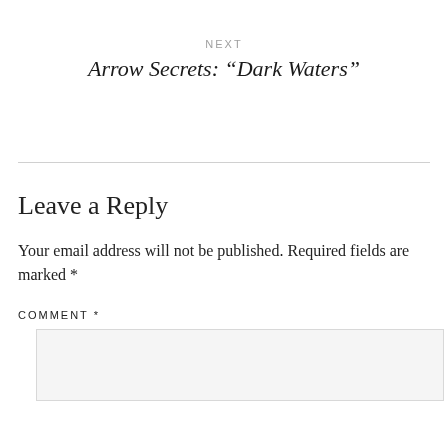NEXT
Arrow Secrets: “Dark Waters”
Leave a Reply
Your email address will not be published. Required fields are marked *
COMMENT *